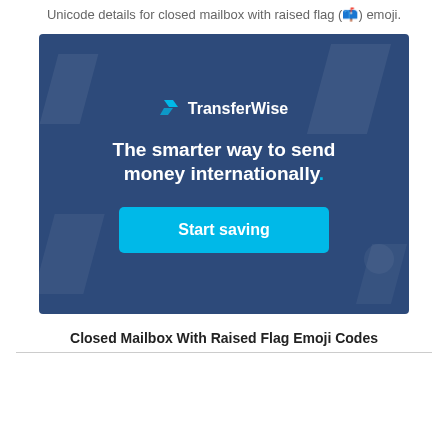Unicode details for closed mailbox with raised flag (📫) emoji.
[Figure (illustration): TransferWise advertisement banner with dark blue background, decorative parallelogram shapes, TransferWise logo with lightning bolt icon, tagline 'The smarter way to send money internationally.' and a cyan 'Start saving' button.]
Closed Mailbox With Raised Flag Emoji Codes